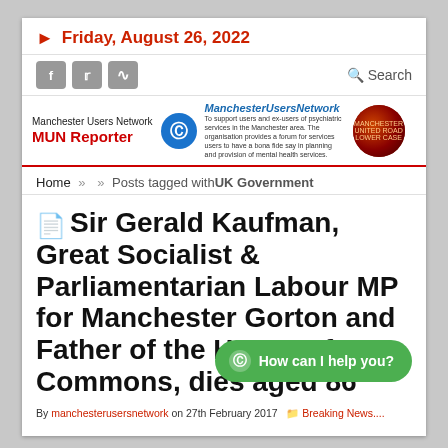Friday, August 26, 2022
[Figure (logo): Manchester Users Network MUN Reporter banner with logo and photo]
Home » » Posts tagged withUK Government
Sir Gerald Kaufman, Great Socialist & Parliamentarian Labour MP for Manchester Gorton and Father of the House of Commons, dies aged 86
By manchesterusersnetwork on 27th February 2017  Breaking News....